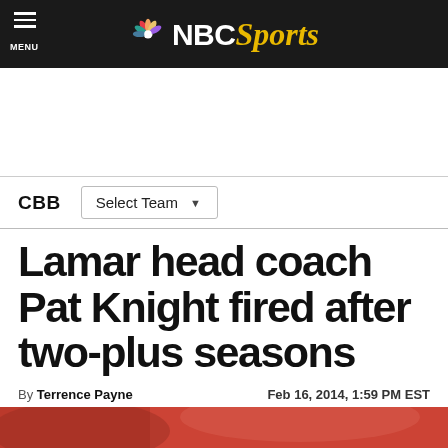NBC Sports
CBB  Select Team
Lamar head coach Pat Knight fired after two-plus seasons
By Terrence Payne  Feb 16, 2014, 1:59 PM EST
[Figure (photo): Bottom edge of a photo showing a person in a red/orange top, partially visible]